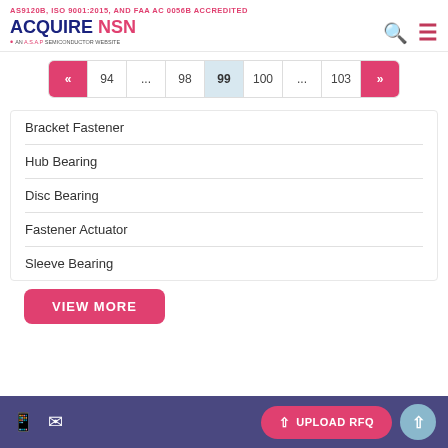AS9120B, ISO 9001:2015, AND FAA AC 0056B ACCREDITED
ACQUIRE NSN — AN A.S.A.P SEMICONDUCTOR WEBSITE
Pagination: « 94 ... 98 99 100 ... 103 »
Bracket Fastener
Hub Bearing
Disc Bearing
Fastener Actuator
Sleeve Bearing
VIEW MORE
UPLOAD RFQ